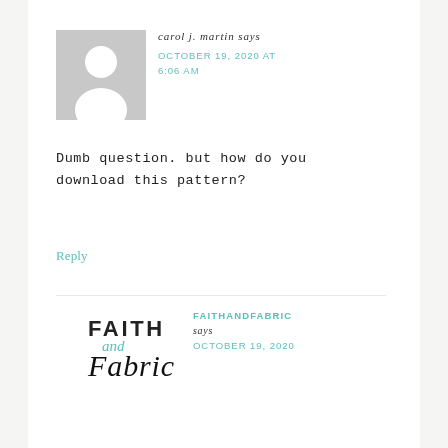[Figure (illustration): Generic grey avatar silhouette placeholder image for commenter carol j. martin]
carol j. martin says
OCTOBER 19, 2020 AT 6:06 AM
Dumb question. but how do you download this pattern?
Reply
[Figure (logo): Faith and Fabric logo with stylized text]
FAITHANDFABRIC says
OCTOBER 19, 2020